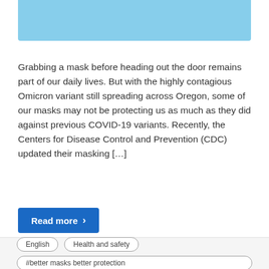[Figure (photo): Light blue/sky colored banner image at the top of the article card]
Grabbing a mask before heading out the door remains part of our daily lives. But with the highly contagious Omicron variant still spreading across Oregon, some of our masks may not be protecting us as much as they did against previous COVID-19 variants. Recently, the Centers for Disease Control and Prevention (CDC) updated their masking […]
Read more ›
English
Health and safety
#better masks better protection